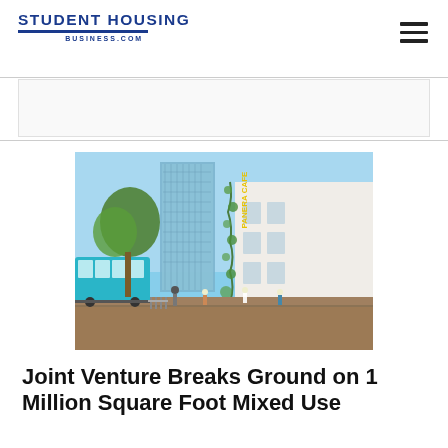STUDENT HOUSING BUSINESS.COM
[Figure (photo): Architectural rendering of a mixed-use urban development showing a streetscape with a light rail tram, cyclists, pedestrians, green-covered building facade with 'PANERA CAFE' signage, tall glass tower in background, and brick-paved sidewalk.]
Joint Venture Breaks Ground on 1 Million Square Foot Mixed Use